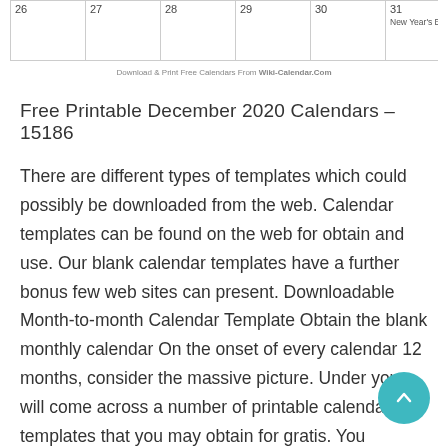[Figure (other): Partial view of a December 2020 printable calendar showing the bottom row with dates 26, 27, 28, 29, 30, 31 (New Year's Eve), and a watermark reading 'Download & Print Free Calendars From Wiki-Calendar.Com']
Free Printable December 2020 Calendars – 15186
There are different types of templates which could possibly be downloaded from the web. Calendar templates can be found on the web for obtain and use. Our blank calendar templates have a further bonus few web sites can present. Downloadable Month-to-month Calendar Template Obtain the blank monthly calendar On the onset of every calendar 12 months, consider the massive picture. Under you will come across a number of printable calendar templates that you may obtain for gratis. You possibly can select from different calendar templates. The advertising calendar template will help you in